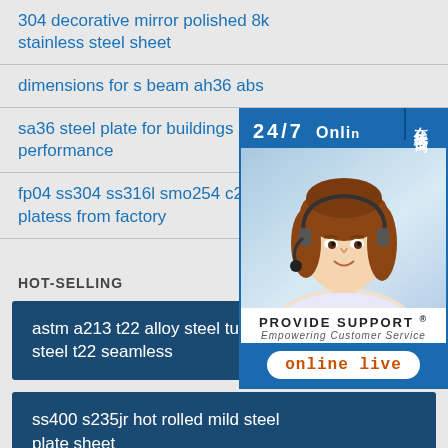304 decorative mirror polished 8k stainless steel sheet
dimensions for s beam ah36 abs
sa36 steel plate for buildings performance
fp04 ss304 ss316l smo254 c276 p platess from factory
HOT-SELLING
astm a213 t22 alloy steel tubes alloy steel t22 seamless
ss400 s235jr hot rolled mild steel plate sheet
[Figure (other): 24/7 online customer support widget with photo of female customer service representative wearing headset, PROVIDE SUPPORT Empowering Customer Service branding, online live chat button, and Chinese text tab reading 在线咨询]